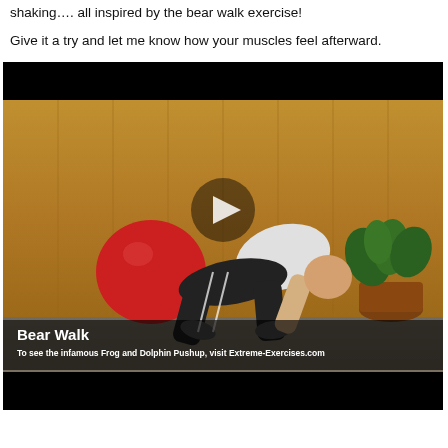shaking…. all inspired by the bear walk exercise!
Give it a try and let me know how your muscles feel afterward.
[Figure (screenshot): Video thumbnail showing a man performing the Bear Walk exercise on all fours in a wood-paneled room with a red exercise ball and a plant in the background. A play button overlay is visible in the center. Text overlay at the bottom reads 'Bear Walk' and 'To see the infamous Frog and Dolphin Pushup, visit Extreme-Exercises.com'.]